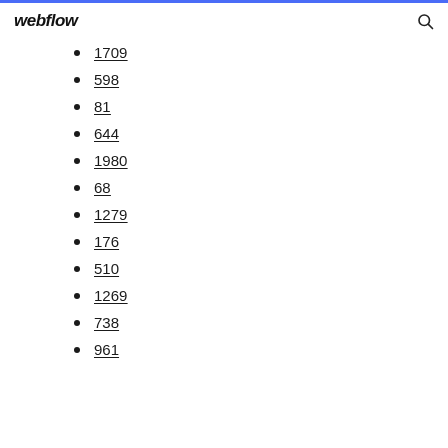webflow
1709
598
81
644
1980
68
1279
176
510
1269
738
961